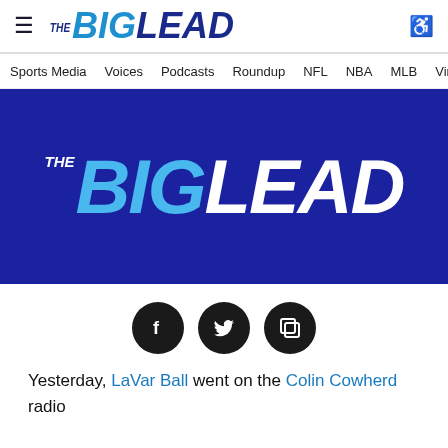THE BIG LEAD — navigation header with hamburger menu, logo, and accessibility icon
Sports Media  Voices  Podcasts  Roundup  NFL  NBA  MLB  Viral In
[Figure (logo): The Big Lead logo on dark blue background — large hero banner image]
[Figure (infographic): Social sharing icons: Facebook, Twitter, Copy/Share — three black circular icons]
Yesterday, LaVar Ball went on the Colin Cowherd radio